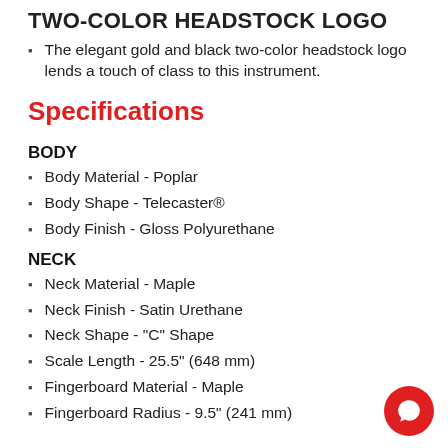TWO-COLOR HEADSTOCK LOGO
The elegant gold and black two-color headstock logo lends a touch of class to this instrument.
Specifications
BODY
Body Material - Poplar
Body Shape - Telecaster®
Body Finish - Gloss Polyurethane
NECK
Neck Material - Maple
Neck Finish - Satin Urethane
Neck Shape - "C" Shape
Scale Length - 25.5" (648 mm)
Fingerboard Material - Maple
Fingerboard Radius - 9.5" (241 mm)